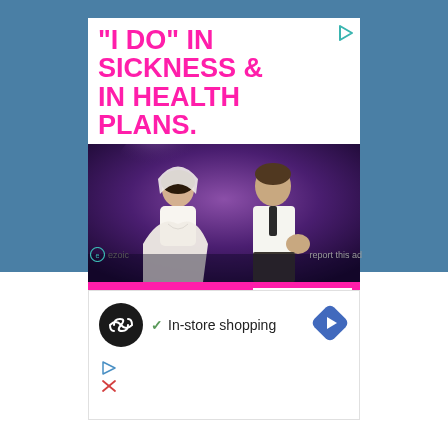[Figure (illustration): HealthCare.gov advertisement with bold pink headline text reading '"I DO" IN SICKNESS & IN HEALTH PLANS.' above a wedding photo of a bride and groom dancing, with a pink bottom bar showing 'HealthCare.gov' and a 'LEARN MORE' button. Ezoic logo and 'report this ad' text below.]
[Figure (illustration): Partial advertisement showing a black circle logo with infinity-style icon, a green checkmark with 'In-store shopping' text, a blue diamond navigation icon, and small play/close icons below.]